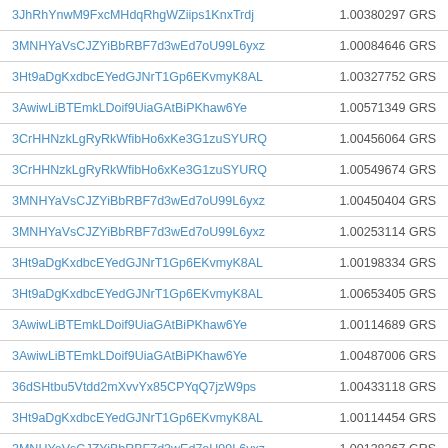| Address | Amount |
| --- | --- |
| 3JhRhYnwM9FxcMHdqRhgWZiips1KnxTrdj | 1.00380297 GRS |
| 3MNHYaVsCJZYiBbRBF7d3wEd7oU99L6yxz | 1.00084646 GRS |
| 3Ht9aDgKxdbcEYedGJNrT1Gp6EKvmyK8AL | 1.00327752 GRS |
| 3AwiwLiBTEmkLDoif9UiaGAtBiPKhaw6Ye | 1.00571349 GRS |
| 3CrHHNzkLgRyRkWfibHo6xKe3G1zuSYURQ | 1.00456064 GRS |
| 3CrHHNzkLgRyRkWfibHo6xKe3G1zuSYURQ | 1.00549674 GRS |
| 3MNHYaVsCJZYiBbRBF7d3wEd7oU99L6yxz | 1.00450404 GRS |
| 3MNHYaVsCJZYiBbRBF7d3wEd7oU99L6yxz | 1.00253114 GRS |
| 3Ht9aDgKxdbcEYedGJNrT1Gp6EKvmyK8AL | 1.00198334 GRS |
| 3Ht9aDgKxdbcEYedGJNrT1Gp6EKvmyK8AL | 1.00653405 GRS |
| 3AwiwLiBTEmkLDoif9UiaGAtBiPKhaw6Ye | 1.00114689 GRS |
| 3AwiwLiBTEmkLDoif9UiaGAtBiPKhaw6Ye | 1.00487006 GRS |
| 36dSHtbu5Vtdd2mXvvYx85CPYqQ7jzW9ps | 1.00433118 GRS |
| 3Ht9aDgKxdbcEYedGJNrT1Gp6EKvmyK8AL | 1.00114454 GRS |
| 3MNHYaVsCJZYiBbRBF7d3wEd7oU99L6yxz | 1.00138267 GRS |